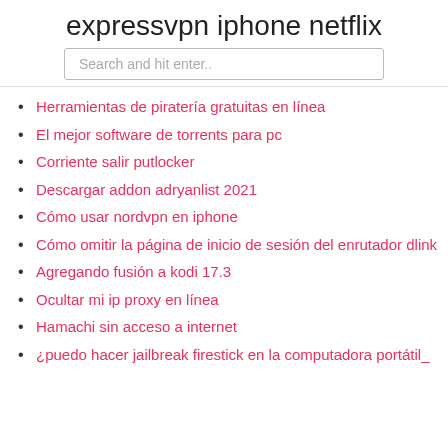expressvpn iphone netflix
Herramientas de piratería gratuitas en línea
El mejor software de torrents para pc
Corriente salir putlocker
Descargar addon adryanlist 2021
Cómo usar nordvpn en iphone
Cómo omitir la página de inicio de sesión del enrutador dlink
Agregando fusión a kodi 17.3
Ocultar mi ip proxy en línea
Hamachi sin acceso a internet
¿puedo hacer jailbreak firestick en la computadora portátil_